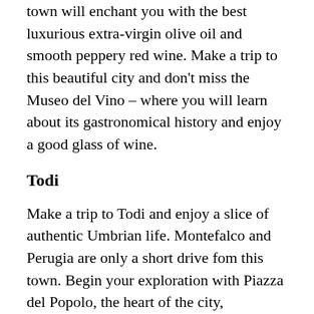town will enchant you with the best luxurious extra-virgin olive oil and smooth peppery red wine. Make a trip to this beautiful city and don't miss the Museo del Vino – where you will learn about its gastronomical history and enjoy a good glass of wine.
Todi
Make a trip to Todi and enjoy a slice of authentic Umbrian life. Montefalco and Perugia are only a short drive fom this town. Begin your exploration with Piazza del Popolo, the heart of the city, overlooked by some of the most important buildings of the historic center that contrast the religious ones. Take a picture from the Cathedral's stairs is definitely one of the best things to do in Todi!
Orvieto